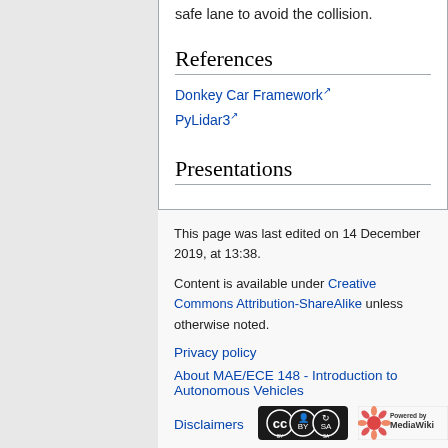safe lane to avoid the collision.
References
Donkey Car Framework
PyLidar3
Presentations
This page was last edited on 14 December 2019, at 13:38.
Content is available under Creative Commons Attribution-ShareAlike unless otherwise noted.
Privacy policy
About MAE/ECE 148 - Introduction to Autonomous Vehicles
Disclaimers